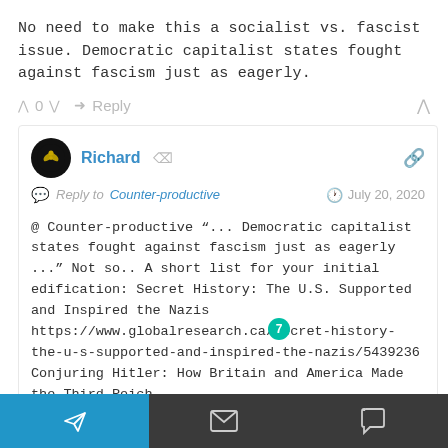No need to make this a socialist vs. fascist issue. Democratic capitalist states fought against fascism just as eagerly.
^ 0 v Reply ^
Richard  Reply to Counter-productive  July 20, 2020
@ Counter-productive "... Democratic capitalist states fought against fascism just as eagerly ..." Not so.. A short list for your initial edification: Secret History: The U.S. Supported and Inspired the Nazis https://www.globalresearch.ca/secret-history-the-u-s-supported-and-inspired-the-nazis/5439236 Conjuring Hitler: How Britain and America Made the Third Reich https://www.amazon.com/Conjuring-Hitler-Britain-America-Third/dp/0745322191X Which American com...
[Figure (screenshot): Bottom navigation bar with three icons: send/telegram (blue background), envelope (dark), and chat bubble (dark)]